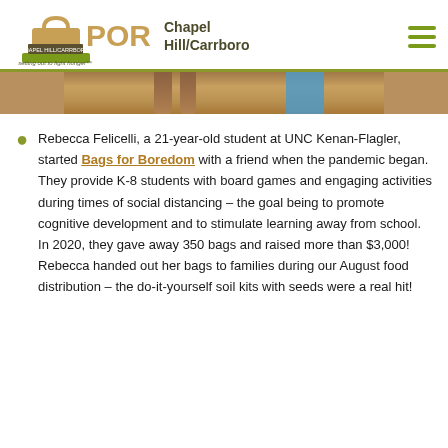PORCH Chapel Hill/Carrboro — setting out to fight hunger™
[Figure (photo): Partial photo showing feet/legs of people standing on pavement, cropped at top, with blue clothing visible on right side.]
Rebecca Felicelli, a 21-year-old student at UNC Kenan-Flagler, started Bags for Boredom with a friend when the pandemic began. They provide K-8 students with board games and engaging activities during times of social distancing – the goal being to promote cognitive development and to stimulate learning away from school. In 2020, they gave away 350 bags and raised more than $3,000! Rebecca handed out her bags to families during our August food distribution – the do-it-yourself soil kits with seeds were a real hit!